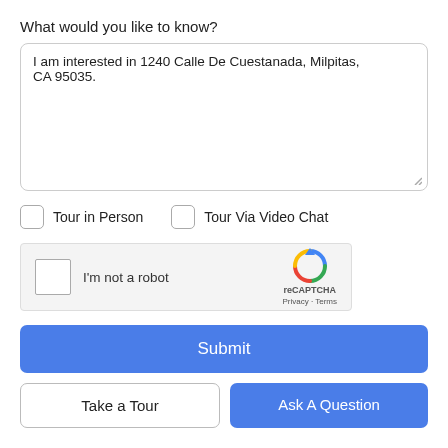What would you like to know?
I am interested in 1240 Calle De Cuestanada, Milpitas, CA 95035.
Tour in Person
Tour Via Video Chat
[Figure (other): reCAPTCHA widget with checkbox labeled I'm not a robot, reCAPTCHA logo, Privacy and Terms links]
Submit
Take a Tour
Ask A Question